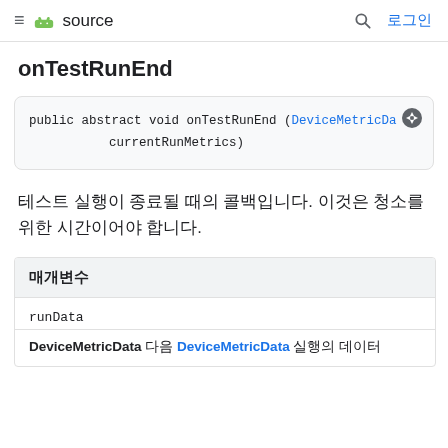≡ 🤖 source  🔍 로그인
onTestRunEnd
public abstract void onTestRunEnd (DeviceMetricData currentRunMetrics)
테스트 실행이 종료될 때의 콜백입니다. 이것은 청소를 위한 시간이어야 합니다.
| 매개변수 |
| --- |
| runData |
| DeviceMetricData 다음 DeviceMetricData 실행의 데이터 |
DeviceMetricData 다음 DeviceMetricData 실행의 데이터